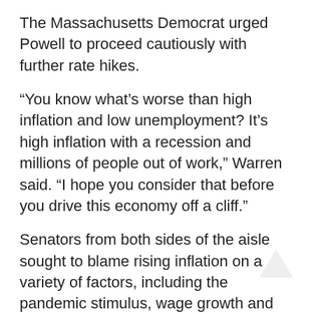The Massachusetts Democrat urged Powell to proceed cautiously with further rate hikes.
“You know what’s worse than high inflation and low unemployment? It’s high inflation with a recession and millions of people out of work,” Warren said. “I hope you consider that before you drive this economy off a cliff.”
Senators from both sides of the aisle sought to blame rising inflation on a variety of factors, including the pandemic stimulus, wage growth and corporate prices increases. However, Powell declined to weigh in on any of those politically heated issues.
“I’m really focused on what we could do, which is shrink our balance sheet and raise interest rates and get supply and demand back into alignment